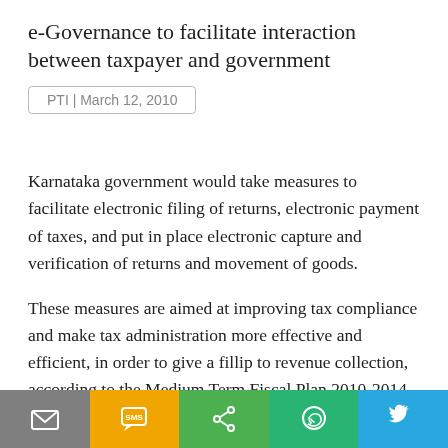e-Governance to facilitate interaction between taxpayer and government
PTI | March 12, 2010
Karnataka government would take measures to facilitate electronic filing of returns, electronic payment of taxes, and put in place electronic capture and verification of returns and movement of goods.
These measures are aimed at improving tax compliance and make tax administration more effective and efficient, in order to give a fillip to revenue collection, according to the Medium Term Fiscal Plan 2010-2014 tabled in the ongoing session of the Karnataka Legislative Assembly.
[Figure (infographic): Social sharing footer bar with icons: email (grey), SMS (yellow), share (green), WhatsApp (teal), Twitter (blue)]